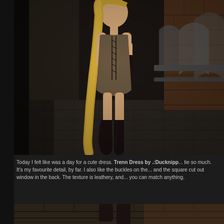[Figure (photo): A virtual 3D character (Second Life avatar) with long blonde braided hair, wearing a short brown/olive lace-up dress with black arm wraps and black knee-high boots. The character appears to be jumping or floating in a stone dungeon-like environment with brick arches in the background.]
Today I felt like was a day for a cute dress. Trenn Dress by .:Ducknipp... tie so much. It's my favourite detail, by far. I also like the buckles on the ... and the square cut out window in the back. The texture is leathery, and ... you can match anything.
[Figure (photo): Bottom portion of another screenshot showing the same or similar environment with stone floor and brick walls.]